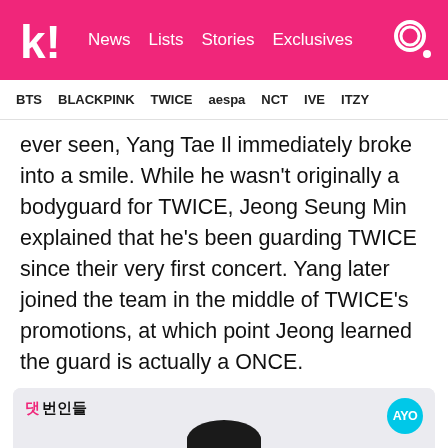k! News  Lists  Stories  Exclusives
BTS  BLACKPINK  TWICE  aespa  NCT  IVE  ITZY
ever seen, Yang Tae Il immediately broke into a smile. While he wasn't originally a bodyguard for TWICE, Jeong Seung Min explained that he's been guarding TWICE since their very first concert. Yang later joined the team in the middle of TWICE's promotions, at which point Jeong learned the guard is actually a ONCE.
[Figure (screenshot): A man in a dark uniform seated against a light background, from a Korean video show with logo '댓 번인들' in pink/black and 'AYO' badge in cyan on the right.]